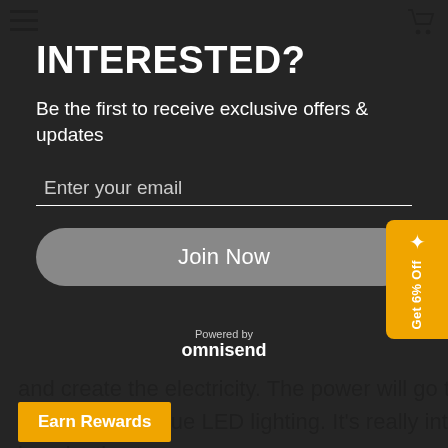INTERESTED?
Be the first to receive exclusive offers & updates
Enter your email
Join Now
Powered by omnisend
and create the electricity. The power will go through the w... and drive the Blue LED lighting. It's really interesting and imaginative toy.
2, EXTREMLY WELL-MADE---- A carefully crafted engine... with high grade zinc alloy stand  sturdy and fruiting⁠; High quality steel base with Fine grinding and surface spray paint... Flywheel... piston, power cylinder liner and hot cylinder... of aluminum fine cars, fine milling.
Get 6% Off
Earn Rewards